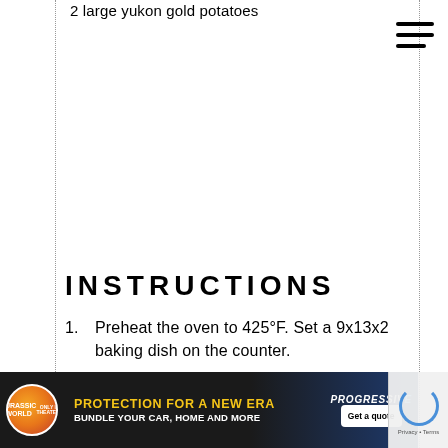2 large yukon gold potatoes
INSTRUCTIONS
1. Preheat the oven to 425°F. Set a 9x13x2 baking dish on the counter.
2. Heat 1 tablespoon of the olive oil in a large, heavy soup pot over medium